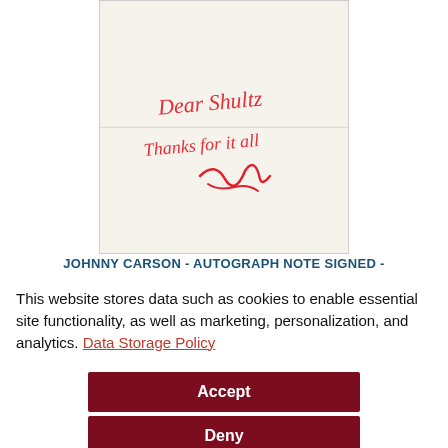[Figure (photo): A handwritten autograph note signed in red ink on a folded cream/off-white card. The note reads: 'Dear Shultz Thanks for it all' followed by a signature, written in flowing red cursive.]
JOHNNY CARSON - AUTOGRAPH NOTE SIGNED -
This website stores data such as cookies to enable essential site functionality, as well as marketing, personalization, and analytics. Data Storage Policy
Accept
Deny